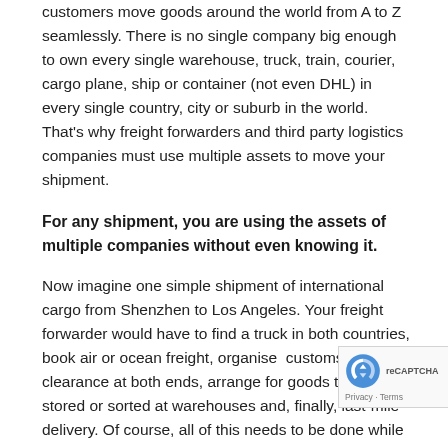customers move goods around the world from A to Z seamlessly. There is no single company big enough to own every single warehouse, truck, train, courier, cargo plane, ship or container (not even DHL) in every single country, city or suburb in the world. That's why freight forwarders and third party logistics companies must use multiple assets to move your shipment.
For any shipment, you are using the assets of multiple companies without even knowing it.
Now imagine one simple shipment of international cargo from Shenzhen to Los Angeles. Your freight forwarder would have to find a truck in both countries, book air or ocean freight, organise  customs clearance at both ends, arrange for goods to be stored or sorted at warehouses and, finally, last-mile delivery. Of course, all of this needs to be done while securing competitive rates, communicating clearly the logistics plan, and executing on it with multiple parties ALL via phone calls, emails, faxes and pieces of paper.